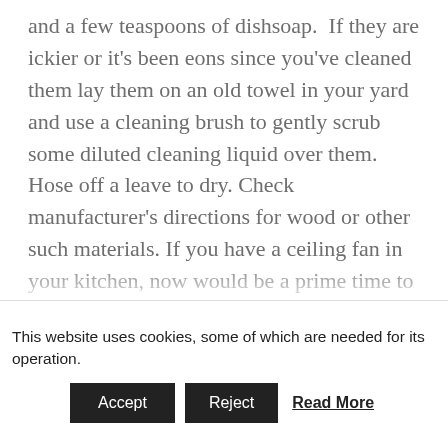and a few teaspoons of dishsoap.  If they are ickier or it's been eons since you've cleaned them lay them on an old towel in your yard and use a cleaning brush to gently scrub some diluted cleaning liquid over them. Hose off a leave to dry. Check manufacturer's directions for wood or other such materials. If you have a ceiling fan in your kitchen, now would be a prime time to clean the dust and polish the metal fixtures. Now in the kitchen this can get pretty icky too. There are inexpensive cleaning implements you can get to clean these regularly (yes...
This website uses cookies, some of which are needed for its operation.  Accept  Reject  Read More